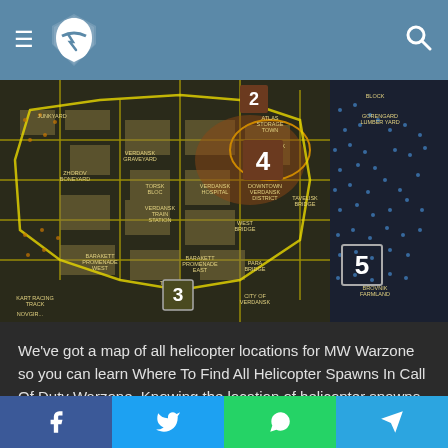Navigation header with logo and search icon
[Figure (map): Warzone Verdansk map showing helicopter spawn locations numbered 2, 3, 4, 5 with location names including Atlas Storage Town, Verdansk Stadium, Downtown Verdansk District, Junkyard, Verdansk Train Station, Barakett Promenade, Gorencard Lumber Yard, Brovnik Farmland, City of Verdansk, Kart Racing Track]
We've got a map of all helicopter locations for MW Warzone so you can learn Where To Find All Helicopter Spawns In Call Of Duty Warzone. Knowing the location of helicopter spawns is a huge advantage for you and your team, giving you many more options of where to land and where to loot.
Facebook, Twitter, WhatsApp, Telegram share buttons